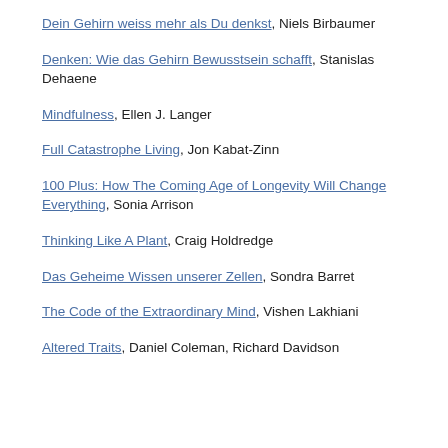Dein Gehirn weiss mehr als Du denkst, Niels Birbaumer
Denken: Wie das Gehirn Bewusstsein schafft, Stanislas Dehaene
Mindfulness, Ellen J. Langer
Full Catastrophe Living, Jon Kabat-Zinn
100 Plus: How The Coming Age of Longevity Will Change Everything, Sonia Arrison
Thinking Like A Plant, Craig Holdredge
Das Geheime Wissen unserer Zellen, Sondra Barret
The Code of the Extraordinary Mind, Vishen Lakhiani
Altered Traits, Daniel Coleman, Richard Davidson